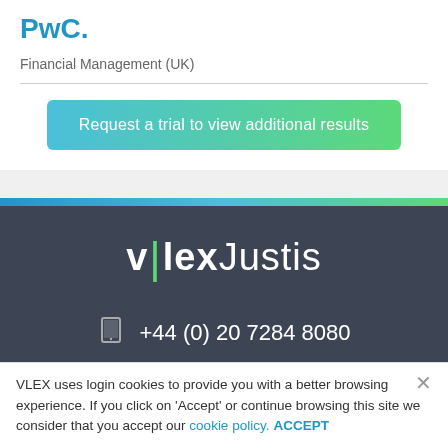PwC.
Financial Management (UK)
[Figure (other): Green gradient button reading 'Request a trial to view additional results']
[Figure (logo): vlex Justis logo in white text on dark background]
+44 (0) 20 7284 8080
VLEX uses login cookies to provide you with a better browsing experience. If you click on 'Accept' or continue browsing this site we consider that you accept our cookie policy. ACCEPT